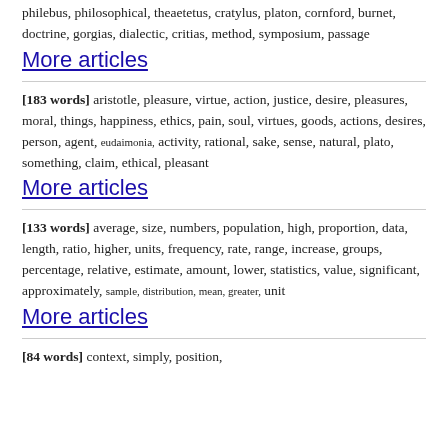timaeus, ideas, phaedrus, parmenides, sophist, aristotle, taylor, philosophy, philebus, philosophical, theaetetus, cratylus, platon, cornford, burnet, doctrine, gorgias, dialectic, critias, method, symposium, passage
More articles
[183 words] aristotle, pleasure, virtue, action, justice, desire, pleasures, moral, things, happiness, ethics, pain, soul, virtues, goods, actions, desires, person, agent, eudaimonia, activity, rational, sake, sense, natural, plato, something, claim, ethical, pleasant
More articles
[133 words] average, size, numbers, population, high, proportion, data, length, ratio, higher, units, frequency, rate, range, increase, groups, percentage, relative, estimate, amount, lower, statistics, value, significant, approximately, sample, distribution, mean, greater, unit
More articles
[84 words] context, simply, position,